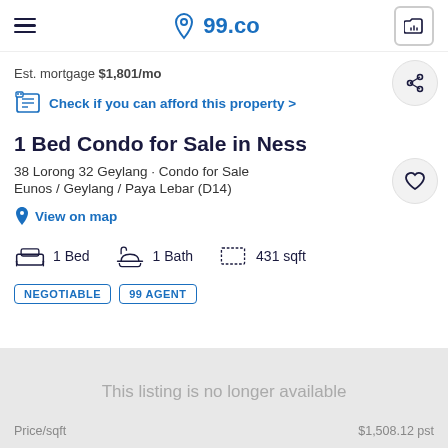99.co
Est. mortgage $1,801/mo
Check if you can afford this property >
1 Bed Condo for Sale in Ness
38 Lorong 32 Geylang · Condo for Sale
Eunos / Geylang / Paya Lebar (D14)
View on map
1 Bed   1 Bath   431 sqft
NEGOTIABLE   99 AGENT
This listing is no longer available
Price/sqft   $1,508.12 pst